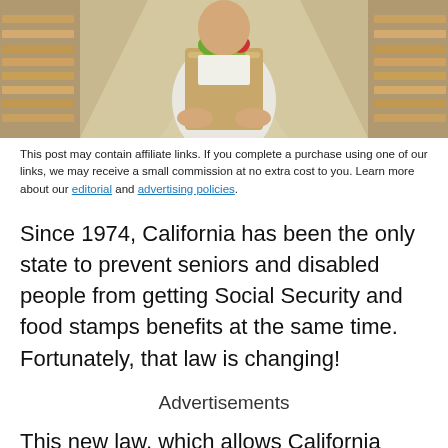[Figure (photo): Person holding large brown grocery bag with vegetables in a supermarket aisle]
This post may contain affiliate links. If you complete a purchase using one of our links, we may receive a small commission at no extra cost to you. Learn more about our editorial and advertising policies.
Since 1974, California has been the only state to prevent seniors and disabled people from getting Social Security and food stamps benefits at the same time. Fortunately, that law is changing!
Advertisements
This new law, which allows California residents to